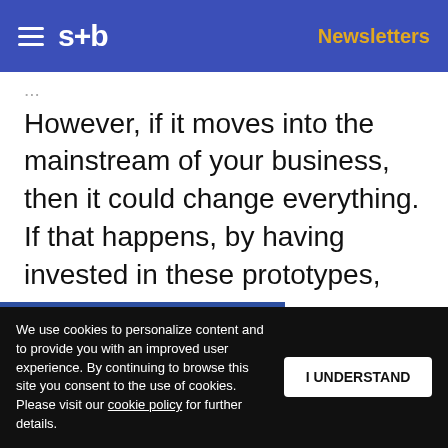s+b  Newsletters
However, if it moves into the mainstream of your business, then it could change everything. If that happens, by having invested in these prototypes, you'll be prepared. You can scale up your prototypes to take advantage of everything blockchain offers.
When faced with disruptive technologies, the ... companies thrive by
Get s+b's award-winning newsletter delivered to your inbox.
We use cookies to personalize content and to provide you with an improved user experience. By continuing to browse this site you consent to the use of cookies. Please visit our cookie policy for further details.